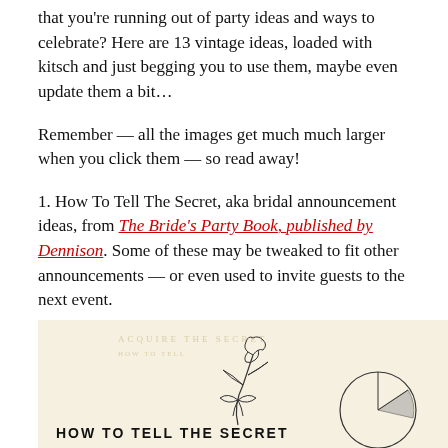that you're running out of party ideas and ways to celebrate? Here are 13 vintage ideas, loaded with kitsch and just begging you to use them, maybe even update them a bit…
Remember — all the images get much much larger when you click them — so read away!
1. How To Tell The Secret, aka bridal announcement ideas, from The Bride's Party Book, published by Dennison. Some of these may be tweaked to fit other announcements — or even used to invite guests to the next event.
[Figure (illustration): Vintage illustration of a rose with leaves and a circular design, with bold text 'HOW TO TELL THE SECRET' at the bottom on a cream/beige background]